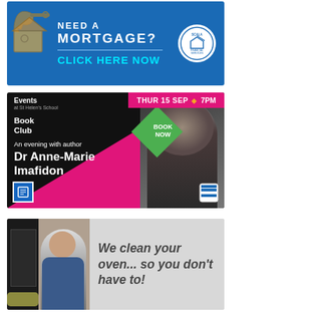[Figure (illustration): Mortgage advertisement with blue background showing house keys and wooden house shape. Text reads 'NEED A MORTGAGE? CLICK HERE NOW' with Scala Financial Services circular logo.]
[Figure (illustration): St Helen's School Book Club event advertisement. Black background with magenta/pink banner reading 'THUR 15 SEP 7PM'. Text: 'Events at St Helen's School, Book Club, An evening with author Dr Anne-Marie Imafidon'. Green diamond shape with 'BOOK NOW'. Photo of a woman with curly hair.]
[Figure (illustration): Oven cleaning service advertisement. Left side shows photo of man with oven. Right side grey background with text: 'We clean your oven... so you don't have to!']